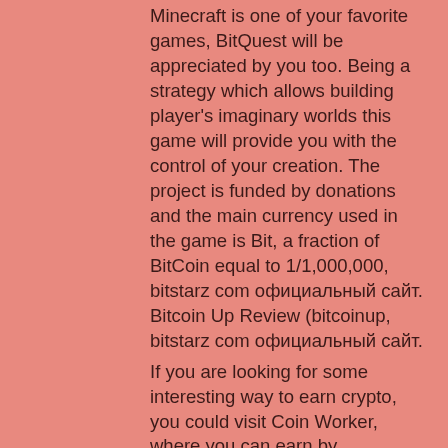Minecraft is one of your favorite games, BitQuest will be appreciated by you too. Being a strategy which allows building player's imaginary worlds this game will provide you with the control of your creation. The project is funded by donations and the main currency used in the game is Bit, a fraction of BitCoin equal to 1/1,000,000, bitstarz com официальный сайт. Bitcoin Up Review (bitcoinup, bitstarz com официальный сайт.
If you are looking for some interesting way to earn crypto, you could visit Coin Worker, where you can earn by completing micro tasks like watching some short commercials or sharing posts on social media, bitstarz com официальный сайт. The average price for each task is usually between 0. Also, you will need only a few minutes to complete each one of these.
Bitstarz zatočení zdarma